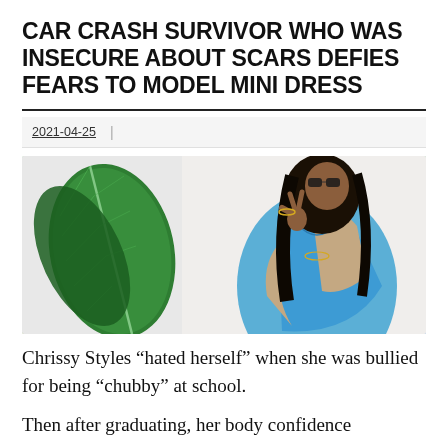CAR CRASH SURVIVOR WHO WAS INSECURE ABOUT SCARS DEFIES FEARS TO MODEL MINI DRESS
2021-04-25
[Figure (photo): A woman in a blue patterned mini dress making a peace sign with her hand, standing next to a large tropical leaf plant against a white wall.]
Chrissy Styles “hated herself” when she was bullied for being “chubby” at school.
Then after graduating, her body confidence